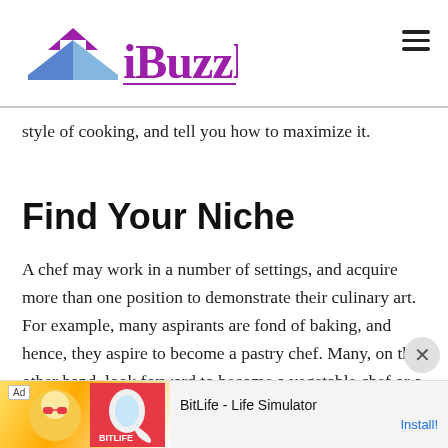iBuzzle
style of cooking, and tell you how to maximize it.
Find Your Niche
A chef may work in a number of settings, and acquire more than one position to demonstrate their culinary art. For example, many aspirants are fond of baking, and hence, they aspire to become a pastry chef. Many, on the other hand, look forward to become a vegetable chef or a pantry chef. Following, there are sous chefs, personal chefs, and garde managers who
[Figure (other): Advertisement banner for BitLife - Life Simulator app with ad label, game artwork, and Install! link]